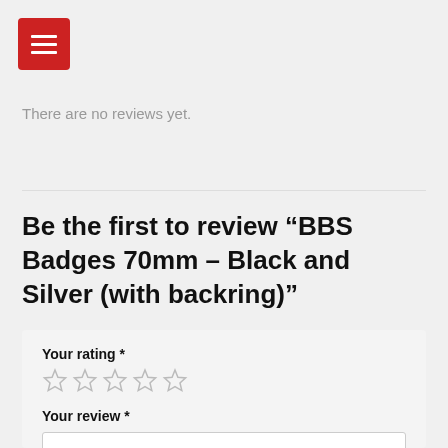[Figure (other): Red square button with three horizontal white lines (hamburger/menu icon)]
There are no reviews yet.
Be the first to review “BBS Badges 70mm – Black and Silver (with backring)”
Your rating *
[Figure (other): Five empty star rating icons]
Your review *